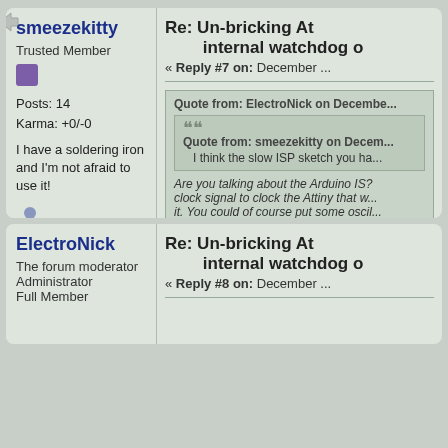smeezekitty
Trusted Member
Posts: 14
Karma: +0/-0
I have a soldering iron and I'm not afraid to use it!
Re: Un-bricking At... internal watchdog o...
« Reply #7 on: December ...
Quote from: ElectroNick on December...
Quote from: smeezekitty on Decem...
I think the slow ISP sketch you ha...
Are you talking about the Arduino IS... clock signal to clock the Attiny that w... it. You could of course put some oscil... Cheers!
I mean the one in the first...
I glanced over it and did n...
ElectroNick
The forum moderator
Administrator
Full Member
Re: Un-bricking At... internal watchdog o...
« Reply #8 on: December ...